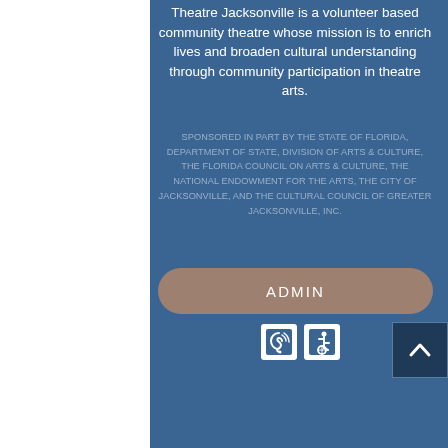Theatre Jacksonville is a volunteer based community theatre whose mission is to enrich lives and broaden cultural understanding through community participation in theatre arts.
SPONSORED IN PART BY THE STATE OF FLORIDA, DEPARTMENT OF STATE, DIVISION OF ARTS & CULTURE, THE FLORIDA COUNCIL ON ARTS & CULTURE, THE NATIONAL ENDOWMENT FOR THE ARTS, THE CITY OF JACKSONVILLE, AND THE CULTURAL COUNCIL OF GREATER JACKSONVILLE, INC.
ADMIN
[Figure (illustration): Two accessibility icons: hearing loop symbol and wheelchair accessibility symbol, white icons on blue square backgrounds]
[Figure (illustration): Back to top button with upward chevron arrow, dark blue square with lighter border in bottom right corner]